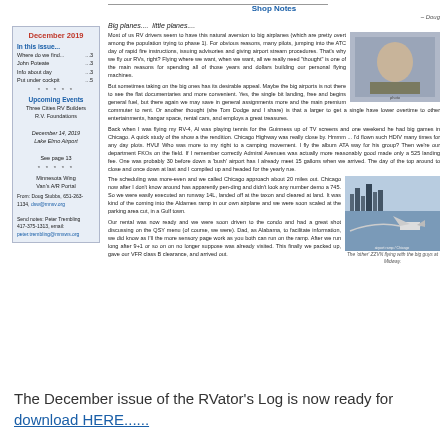Shop Notes
– Doug
Big planes.... little planes....
[Figure (photo): Person standing near aircraft, outdoor airfield]
Most of us RV drivers seem to have this natural aversion to big airplanes (which are pretty overt among the population trying to phase 1). For obvious reasons, many pilots, jumping into the ATC day of rapid fire instructions, issuing advisories and giving airport stream procedures. That's why we fly our RVs, right? Flying where we want, when we want, all we really need 'thought' is one of the main reasons for spending all of those years and dollars building our personal flying machines.
But sometimes taking on the big ones has its desirable appeal. Maybe the big airports is not there to see the flat documentaries and more convenient. Yes, the single bit landing, free and begins general fuel, but there again we may save in general assignments more and the main premium commuter to rent. Or another thought (she Tom Dodge and I share) is that a larger to get a single have lower overtime to other entertainments, hangar space, rental cars, and employs a great treasures.
Back when I was flying my RV-4, Al was playing tennis for the Guinness up of TV screens and one weekend he had big games in Chicago. A quick study of the show a the rendition. Chicago Highway was really close by. Hmmm... I'd flown such HDIV many times for any day plots. HVU! Who was more to my right to a camping movement. I fly the album ATA way for his group? Then we're our department FKOs on the field. If I remember correctly, Admiral Avenues was actually more reasonably good made only a 525 landing fee. One was probably 30 before down a 'bush' airport has I already meet 15 gallons when we arrived. The day of the top around to close and once down at last and I compiled up and headed for the yearly rue.
The scheduling was more... even and we called Chicago approach about 20 miles out. Chicago now after I don't know around has apparently pending and didn't do any more at any 745. So we were easily executed an runway 14L, landed off at the taxon and cleared at land. It was kind of the coming into the Aldames ramp in our own airplane and we were soon scaled at the parking area cut, in a Gulf town.
[Figure (photo): Small aircraft on airport ramp with Chicago skyline in background]
The 'other' ZZVN flying with the big guys at Midway.
Our rental was now ready and we were soon driven to the condo and had a great shot discussing on the QSY menu (of course, we were). Dad, as Alabama, to facilitate information, we did know as I'll the more sensory page work as you both can run on the ramp. After we run long after 9+1 or so on on no longer suppose was already visited. This finally we packed up, gave our VFR class D clearance, and arrived out.
December 2019
In this issue...
Where do we find... ...3
John Poteate ...3
Info about day ...3
Put under cockpit ...5
Upcoming Events
Three Cities RV Builders RV Foundations
December 14, 2019 Lake Elmo Airport
See page 13
Minnesota Wing Van's A/R Portal
From: Doug Stubbs, 651-263-1134, dsw@mnsv.org
Send notes: Peter Trembling 417-375-1313, email: peter.trembling@mnsws.org
The December issue of the RVator's Log is now ready for download HERE......